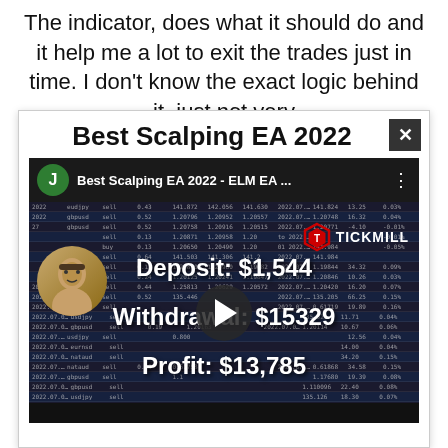The indicator, does what it should do and it help me a lot to exit the trades just in time. I don't know the exact logic behind it, just not very often, but unfortunately some key reversals are
Best Scalping EA 2022
[Figure (screenshot): YouTube video thumbnail showing a trading statement with text overlaid: 'Best Scalping EA 2022 - ELM EA ...' with Tickmill logo, showing Deposit: $1,544, Withdrawal: $15329, Profit: $13,785. Shows a trading table with multiple rows of trade data. Channel avatar shows letter J and a person's face photo.]